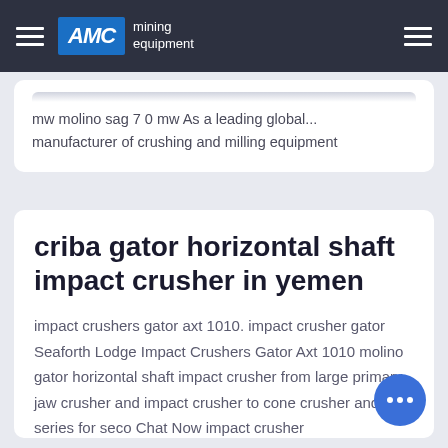AMC mining equipment
mw molino sag 7 0 mw As a leading global... manufacturer of crushing and milling equipment
criba gator horizontal shaft impact crusher in yemen
impact crushers gator axt 1010. impact crusher gator Seaforth Lodge Impact Crushers Gator Axt 1010 molino gator horizontal shaft impact crusher from large primary jaw crusher and impact crusher to cone crusher and vsi series for seco Chat Now impact crusher molinobidebermill molino gator. horizontal shaft impact crusher edit The HSI